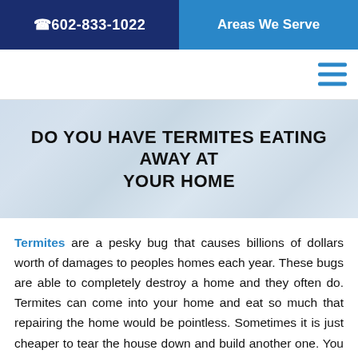☎ 602-833-1022  |  Areas We Serve
[Figure (screenshot): Hamburger menu icon with three blue horizontal lines on white background]
[Figure (photo): Blurred background image of a room or garage with light blue tones]
DO YOU HAVE TERMITES EATING AWAY AT YOUR HOME
Termites are a pesky bug that causes billions of dollars worth of damages to peoples homes each year. These bugs are able to completely destroy a home and they often do. Termites can come into your home and eat so much that repairing the home would be pointless. Sometimes it is just cheaper to tear the house down and build another one. You do not want your house to be one of the houses that has to be rebuilt from the ground up.